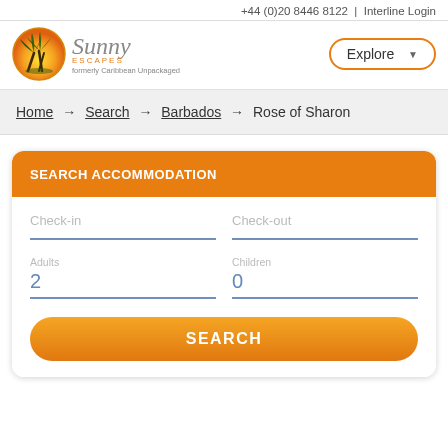+44 (0)20 8446 8122 | Interline Login
[Figure (logo): Sunny Escapes logo with palm tree circle, text 'Sunny ESCAPES formerly Caribbean Unpackaged']
Explore
Home → Search → Barbados → Rose of Sharon
SEARCH ACCOMMODATION
Check-in
Check-out
Adults 2
Children 0
SEARCH